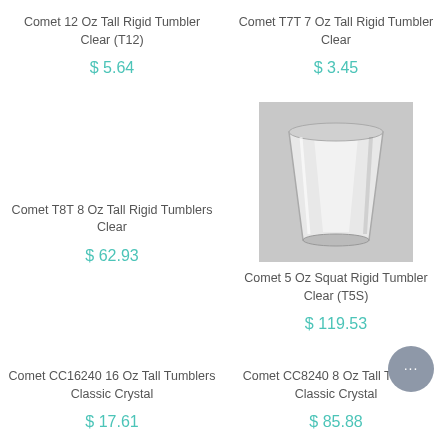Comet 12 Oz Tall Rigid Tumbler Clear (T12)
$ 5.64
Comet T7T 7 Oz Tall Rigid Tumbler Clear
$ 3.45
Comet T8T 8 Oz Tall Rigid Tumblers Clear
$ 62.93
[Figure (photo): Clear plastic squat rigid tumbler cup, photographed on gray background]
Comet 5 Oz Squat Rigid Tumbler Clear (T5S)
$ 119.53
Comet CC16240 16 Oz Tall Tumblers Classic Crystal
$ 17.61
Comet CC8240 8 Oz Tall Tumbler Classic Crystal
$ 85.88